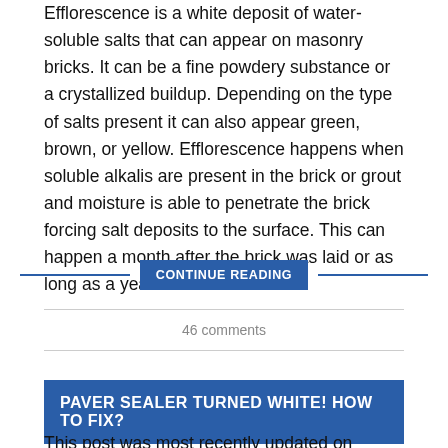Efflorescence is a white deposit of water-soluble salts that can appear on masonry bricks. It can be a fine powdery substance or a crystallized buildup. Depending on the type of salts present it can also appear green, brown, or yellow. Efflorescence happens when soluble alkalis are present in the brick or grout and moisture is able to penetrate the brick forcing salt deposits to the surface. This can happen a month after the brick was laid or as long as a year later.
CONTINUE READING
46 comments
PAVER SEALER TURNED WHITE! HOW TO FIX?
This post was most recently updated on January 26th